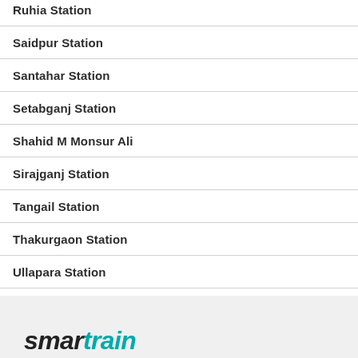Ruhia Station
Saidpur Station
Santahar Station
Setabganj Station
Shahid M Monsur Ali
Sirajganj Station
Tangail Station
Thakurgaon Station
Ullapara Station
smartrain